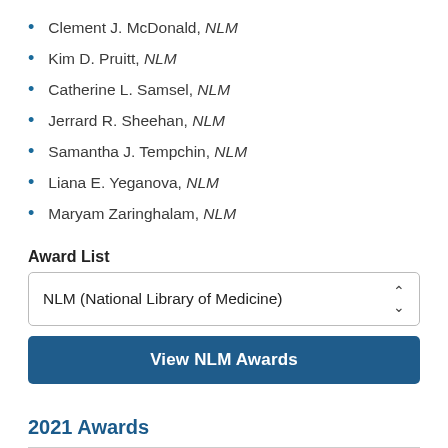Clement J. McDonald, NLM
Kim D. Pruitt, NLM
Catherine L. Samsel, NLM
Jerrard R. Sheehan, NLM
Samantha J. Tempchin, NLM
Liana E. Yeganova, NLM
Maryam Zaringhalam, NLM
Award List
NLM (National Library of Medicine)
View NLM Awards
2021 Awards